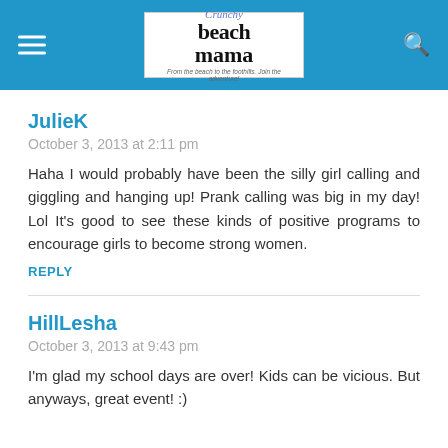Crunchy Beach Mama — From the beach to the foothills. Join the adventure!
JulieK
October 3, 2013 at 2:11 pm
Haha I would probably have been the silly girl calling and giggling and hanging up! Prank calling was big in my day! Lol It's good to see these kinds of positive programs to encourage girls to become strong women.
REPLY
HillLesha
October 3, 2013 at 9:43 pm
I'm glad my school days are over! Kids can be vicious. But anyways, great event! :)